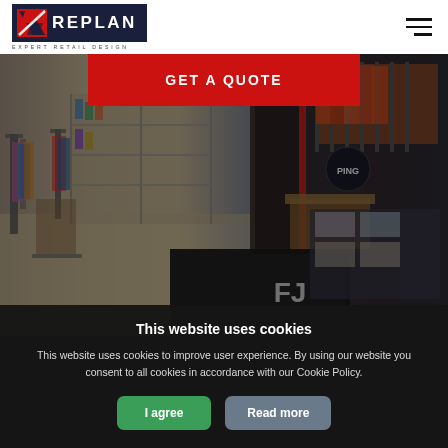[Figure (logo): REPLAN logo with red and navy icon on dark navy background, tagline EXPERT RETAIL DESIGN below]
GET A QUOTE
[Figure (photo): Interior of a retail sporting goods / golf store showing clothing racks, shelves with products, PingInformed signage, and a FootJoy golf bag in the foreground, with dark overlay]
This website uses cookies
This website uses cookies to improve user experience. By using our website you consent to all cookies in accordance with our Cookie Policy.
I agree
Read more